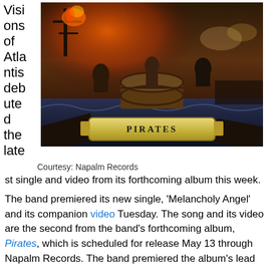Visions of Atlantis debuted the latest single and video from its forthcoming album this week.
[Figure (illustration): Album artwork for 'Pirates' by Visions of Atlantis — a fantasy scene depicting pirates on a stormy sea with ships and a barrel, with a decorative banner reading 'Pirates' in the foreground.]
Courtesy: Napalm Records
The band premiered its new single, 'Melancholy Angel' and its companion video Tuesday. The song and its video are the second from the band's forthcoming album, Pirates, which is scheduled for release May 13 through Napalm Records. The band premiered the album's lead single...